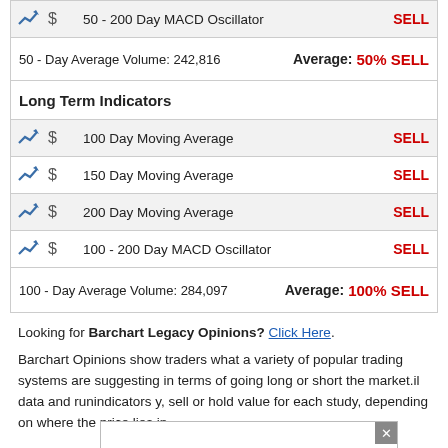| Indicator | Signal |
| --- | --- |
| 50 - 200 Day MACD Oscillator | SELL |
| 50 - Day Average Volume: 242,816 | Average: 50% SELL |
| Long Term Indicators |  |
| 100 Day Moving Average | SELL |
| 150 Day Moving Average | SELL |
| 200 Day Moving Average | SELL |
| 100 - 200 Day MACD Oscillator | SELL |
| 100 - Day Average Volume: 284,097 | Average: 100% SELL |
Looking for Barchart Legacy Opinions? Click Here.
Barchart Opinions show traders what a variety of popular trading systems are suggesting in terms of going long or short the market. [popup overlay] il data and run indicators [popup overlay] y, sell or hold value for each study, depending on where the price lies in